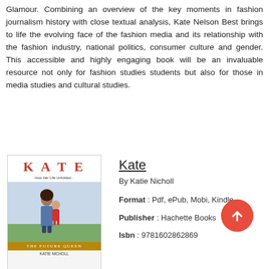Glamour. Combining an overview of the key moments in fashion journalism history with close textual analysis, Kate Nelson Best brings to life the evolving face of the fashion media and its relationship with the fashion industry, national politics, consumer culture and gender. This accessible and highly engaging book will be an invaluable resource not only for fashion studies students but also for those in media studies and cultural studies.
[Figure (illustration): Book cover of 'Kate: The Future Queen' by Katie Nicholl, showing a woman holding a toddler in a red jacket]
Kate
By Katie Nicholl
Format : Pdf, ePub, Mobi, Kindle
Publisher : Hachette Books
Isbn : 9781602862869